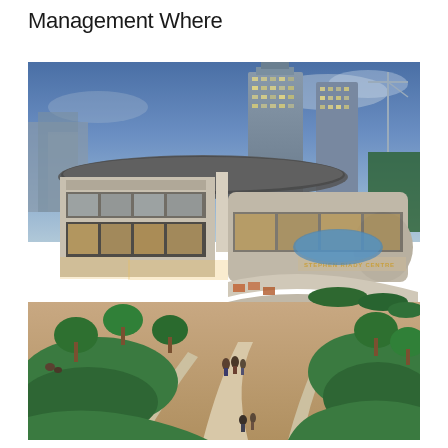Management Where
[Figure (photo): Aerial dusk/evening photograph of a modern multi-level retail and commercial complex — Stephen Riady Centre visible on a curved building facade — surrounded by landscaped green lawns with curved pathways, tall residential towers visible in the background, warm interior lighting illuminating the building.]